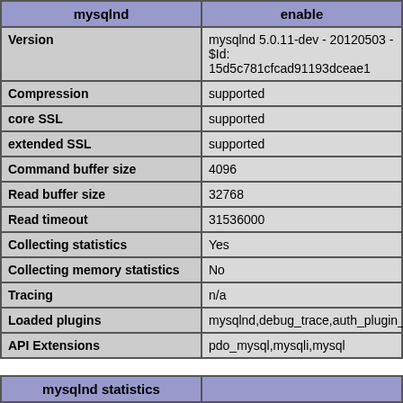| mysqlnd | enable |
| --- | --- |
| Version | mysqlnd 5.0.11-dev - 20120503 - $Id: 15d5c781cfcad91193dceae1 |
| Compression | supported |
| core SSL | supported |
| extended SSL | supported |
| Command buffer size | 4096 |
| Read buffer size | 32768 |
| Read timeout | 31536000 |
| Collecting statistics | Yes |
| Collecting memory statistics | No |
| Tracing | n/a |
| Loaded plugins | mysqlnd,debug_trace,auth_plugin_mysql_native_password,auth_p |
| API Extensions | pdo_mysql,mysqli,mysql |
| mysqlnd statistics |  |
| --- | --- |
| bytes_sent | 509309 |
| bytes_received | 903503 |